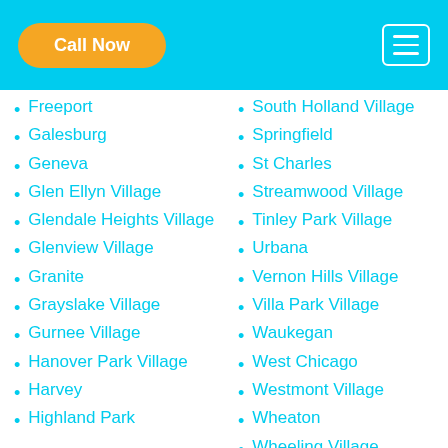Call Now
Freeport
Galesburg
Geneva
Glen Ellyn Village
Glendale Heights Village
Glenview Village
Granite
Grayslake Village
Gurnee Village
Hanover Park Village
Harvey
Highland Park
South Holland Village
Springfield
St Charles
Streamwood Village
Tinley Park Village
Urbana
Vernon Hills Village
Villa Park Village
Waukegan
West Chicago
Westmont Village
Wheaton
Wheeling Village